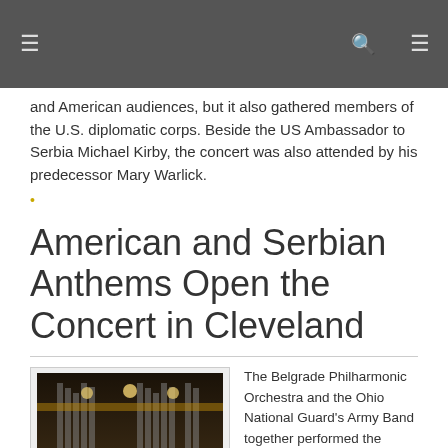≡  🔍  ≡
and American audiences, but it also gathered members of the U.S. diplomatic corps. Beside the US Ambassador to Serbia Michael Kirby, the concert was also attended by his predecessor Mary Warlick.
American and Serbian Anthems Open the Concert in Cleveland
[Figure (photo): Orchestra performing on stage at Severance Hall, Cleveland, viewed from above showing musicians and the concert hall interior.]
The Belgrade Philharmonic Orchestra and the Ohio National Guard's Army Band together performed the American and Serbian national anthems at the beginning of the concert at Cleveland's Severance Hall. As a symbol of American-Serbian friendship, the musicians joined forces and played the two anthems in ceremonious fashion.